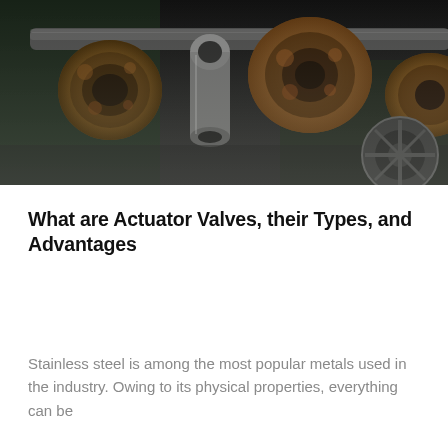[Figure (photo): Industrial photo showing rusty metallic pipes and cylindrical components (actuator valves) with dark background, shot from below at an angle. Shows corroded metal parts including round discs and tube segments.]
What are Actuator Valves, their Types, and Advantages
Stainless steel is among the most popular metals used in the industry. Owing to its physical properties, everything can be